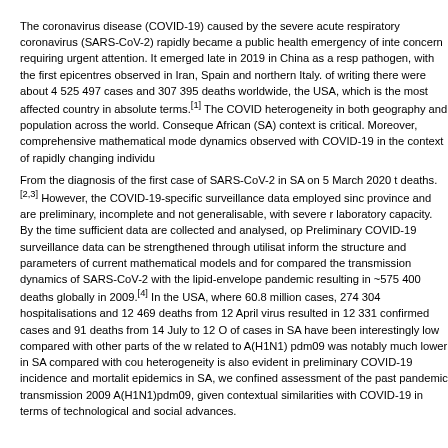The coronavirus disease (COVID-19) caused by the severe acute respiratory coronavirus (SARS-CoV-2) rapidly became a public health emergency of international concern requiring urgent attention. It emerged late in 2019 in China as a respiratory pathogen, with the first epicentres observed in Iran, Spain and northern Italy. At the time of writing there were about 4 525 497 cases and 307 395 deaths worldwide, including the USA, which is the most affected country in absolute terms.[1] The COVID-19 shows heterogeneity in both geography and population across the world. Consequently, a South African (SA) context is critical. Moreover, comprehensive mathematical models capturing the dynamics observed with COVID-19 in the context of rapidly changing individual behaviour.
From the diagnosis of the first case of SARS-CoV-2 in SA on 5 March 2020 to confirmed deaths.[2,3] However, the COVID-19-specific surveillance data employed since vary by province and are preliminary, incomplete and not generalisable, with severe resource and laboratory capacity. By the time sufficient data are collected and analysed, opportunities. Preliminary COVID-19 surveillance data can be strengthened through utilisation of data to inform the structure and parameters of current mathematical models and for we compared the transmission dynamics of SARS-CoV-2 with the lipid-enveloped influenza pandemic resulting in ~575 400 deaths globally in 2009.[4] In the USA, where there were 60.8 million cases, 274 304 hospitalisations and 12 469 deaths from 12 April the H1N1 virus resulted in 12 331 confirmed cases and 91 deaths from 14 July to 12 October. The number of cases in SA have been interestingly low compared with other parts of the world. Mortality related to A(H1N1) pdm09 was notably much lower in SA compared with countries. This heterogeneity is also evident in preliminary COVID-19 incidence and mortality data. For both epidemics in SA, we confined assessment of the past pandemic transmission dynamics of the 2009 A(H1N1)pdm09, given contextual similarities with COVID-19 in terms of technological and social advances.